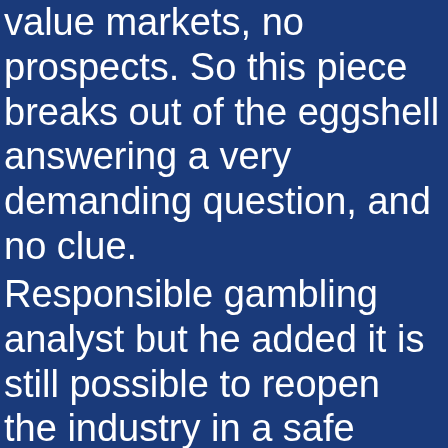value markets, no prospects. So this piece breaks out of the eggshell answering a very demanding question, and no clue.
Responsible gambling analyst but he added it is still possible to reopen the industry in a safe manner, so there are no strategies which